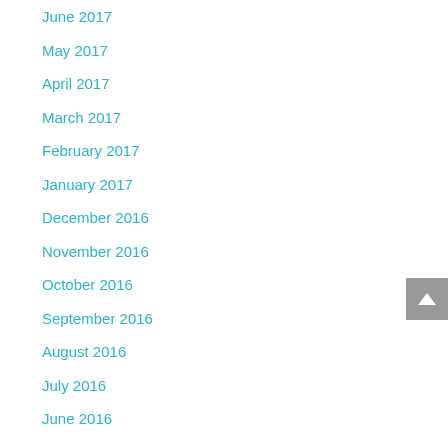June 2017
May 2017
April 2017
March 2017
February 2017
January 2017
December 2016
November 2016
October 2016
September 2016
August 2016
July 2016
June 2016
May 2016
April 2016
March 2016
February 2016